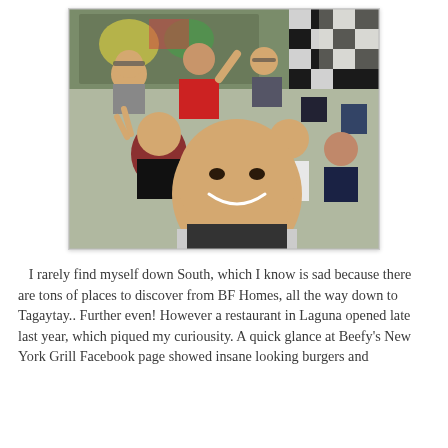[Figure (photo): Group selfie photo of approximately 8-9 people smiling and making fun poses inside a restaurant setting. One person in the foreground is taking the selfie, a woman with red hair is making a peace sign, and others are visible in the background.]
I rarely find myself down South, which I know is sad because there are tons of places to discover from BF Homes, all the way down to Tagaytay.. Further even! However a restaurant in Laguna opened late last year, which piqued my curiousity. A quick glance at Beefy's New York Grill Facebook page showed insane looking burgers and